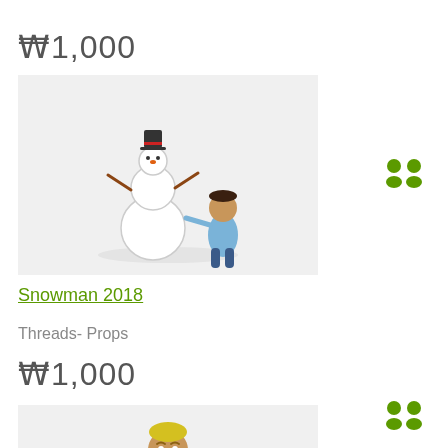₩1,000
[Figure (illustration): Xbox avatar character (boy) building a snowman against white/light grey background]
[Figure (illustration): Two green person silhouette icons representing multiplayer/social feature]
Snowman 2018
Threads- Props
₩1,000
[Figure (illustration): Two green person silhouette icons representing multiplayer/social feature]
[Figure (illustration): Xbox avatar character (child with yellow hair) in white and green shirt and jeans, standing sideways]